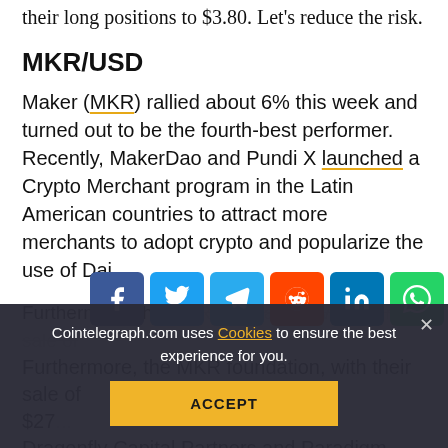their long positions to $3.80. Let's reduce the risk.
MKR/USD
Maker (MKR) rallied about 6% this week and turned out to be the fourth-best performer. Recently, MakerDao and Pundi X launched a Crypto Merchant program in the Latin American countries to attract more merchants to adopt crypto and popularize the use of Dai.
Furthermore, the MKR foundation, with their sale of $27... Dragonfly Capital Partners and Paradigm, have already made their intentions to...
[Figure (infographic): Social share button bar with icons for Facebook, Twitter, Telegram, Reddit, LinkedIn, WhatsApp, Copy, and scroll-to-top (up arrow)]
Cointelegraph.com uses Cookies to ensure the best experience for you. [ACCEPT button]